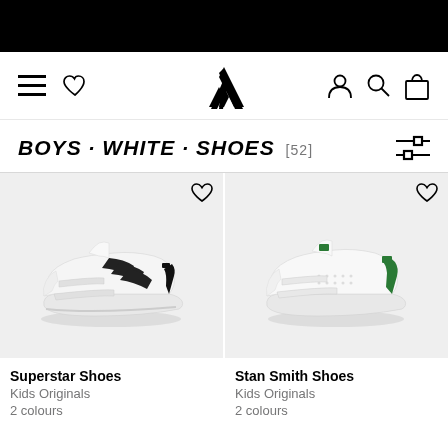Adidas mobile website navigation bar with hamburger menu, heart/favorites, Adidas logo, user, search, and bag icons
BOYS · WHITE · SHOES [52]
[Figure (photo): Adidas Superstar Shoes kids white sneaker with black stripes and velcro straps on light grey background]
[Figure (photo): Adidas Stan Smith Shoes kids white sneaker with green heel tab and velcro straps on light grey background]
Superstar Shoes
Kids Originals
2 colours
Stan Smith Shoes
Kids Originals
2 colours